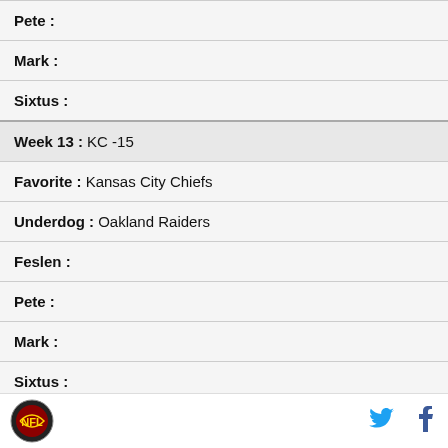| Pete : |
| Mark : |
| Sixtus : |
| Week 13 : KC -15 |
| Favorite : Kansas City Chiefs |
| Underdog : Oakland Raiders |
| Feslen : |
| Pete : |
| Mark : |
| Sixtus : |
| Week 13 : SEA -10 |